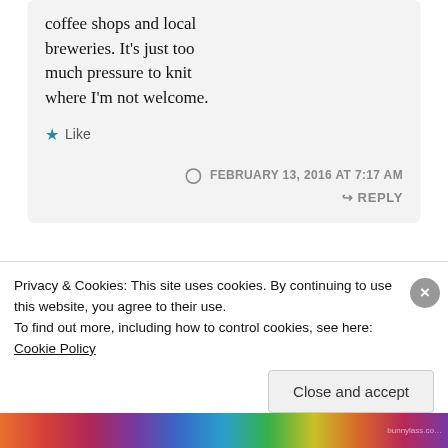coffee shops and local breweries. It's just too much pressure to knit where I'm not welcome.
Like
FEBRUARY 13, 2016 AT 7:17 AM
REPLY
elizabeth kay booth
Privacy & Cookies: This site uses cookies. By continuing to use this website, you agree to their use. To find out more, including how to control cookies, see here: Cookie Policy
Close and accept